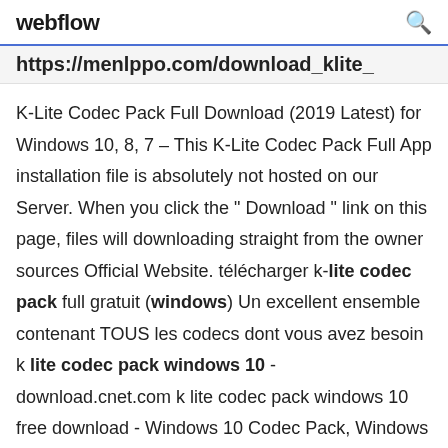webflow
https://menlppo.com/download_klite_
K-Lite Codec Pack Full Download (2019 Latest) for Windows 10, 8, 7 – This K-Lite Codec Pack Full App installation file is absolutely not hosted on our Server. When you click the " Download " link on this page, files will downloading straight from the owner sources Official Website. télécharger k-lite codec pack full gratuit (windows) Un excellent ensemble contenant TOUS les codecs dont vous avez besoin k lite codec pack windows 10 - download.cnet.com k lite codec pack windows 10 free download - Windows 10 Codec Pack, Windows Media Codec Pack, Media Player Codec Pack Plus, and